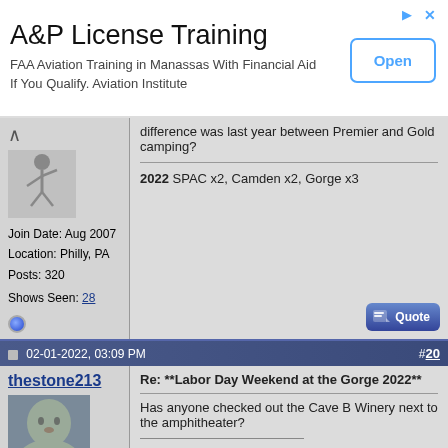[Figure (infographic): Ad banner: A&P License Training. FAA Aviation Training in Manassas With Financial Aid If You Qualify. Aviation Institute. Open button.]
Join Date: Aug 2007
Location: Philly, PA
Posts: 320
Shows Seen: 28
difference was last year between Premier and Gold camping?

2022 SPAC x2, Camden x2, Gorge x3
02-01-2022, 03:09 PM  #20
thestone213
Join Date: Jul 2011
Location: Mason, MI
Posts: 114
Shows Seen: 13
Re: **Labor Day Weekend at the Gorge 2022**

Has anyone checked out the Cave B Winery next to the amphitheater?

"Tomorrow is no place to place your better days" -DJM